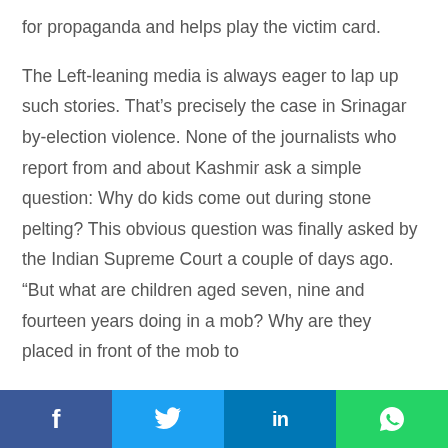for propaganda and helps play the victim card.

The Left-leaning media is always eager to lap up such stories. That’s precisely the case in Srinagar by-election violence. None of the journalists who report from and about Kashmir ask a simple question: Why do kids come out during stone pelting? This obvious question was finally asked by the Indian Supreme Court a couple of days ago. “But what are children aged seven, nine and fourteen years doing in a mob? Why are they placed in front of the mob to confront security forces,” asked a Supreme Court
f  [Twitter]  in  [WhatsApp]